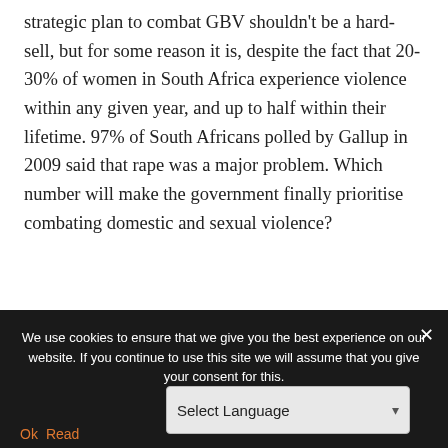strategic plan to combat GBV shouldn't be a hard-sell, but for some reason it is, despite the fact that 20-30% of women in South Africa experience violence within any given year, and up to half within their lifetime. 97% of South Africans polled by Gallup in 2009 said that rape was a major problem. Which number will make the government finally prioritise combating domestic and sexual violence?
The KPMG report has come out just as South
We use cookies to ensure that we give you the best experience on our website. If you continue to use this site we will assume that you give your consent for this.